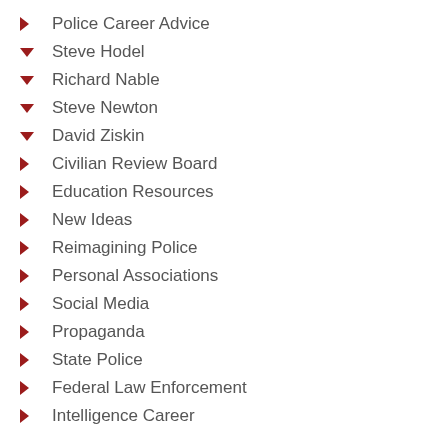Police Career Advice
Steve Hodel
Richard Nable
Steve Newton
David Ziskin
Civilian Review Board
Education Resources
New Ideas
Reimagining Police
Personal Associations
Social Media
Propaganda
State Police
Federal Law Enforcement
Intelligence Career
Police Hiring Process
Becoming a Police Officer
Police Entrance Exam
Police Oral Interview